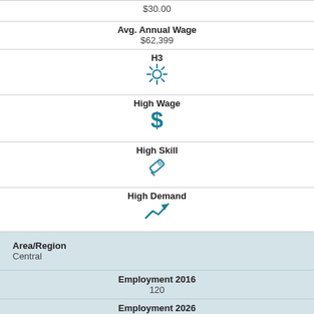$30.00
Avg. Annual Wage
$62,399
H3
[Figure (infographic): Sun/brightness icon in teal]
High Wage
[Figure (infographic): Dollar sign icon in teal]
High Skill
[Figure (infographic): Pencil/tool icon in teal]
High Demand
[Figure (infographic): Upward trending arrow icon in teal]
Area/Region
Central
Employment 2016
120
Employment 2026